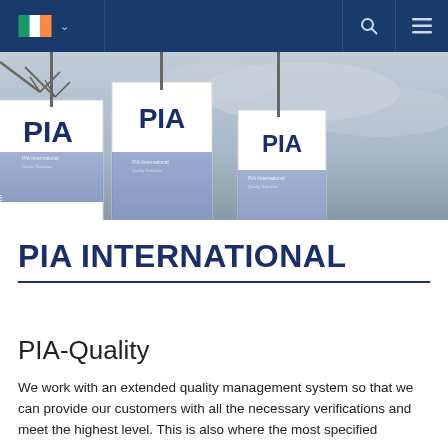[Navigation bar with Irish flag, chevron, search icon, menu icon]
[Figure (photo): Outdoor scene showing multiple tall white banner flags with 'PIA' text printed on them in dark blue, against a cloudy grey sky background with some bare tree branches visible at top left]
PIA INTERNATIONAL
PIA-Quality
We work with an extended quality management system so that we can provide our customers with all the necessary verifications and meet the highest level. This is also where the most specified...